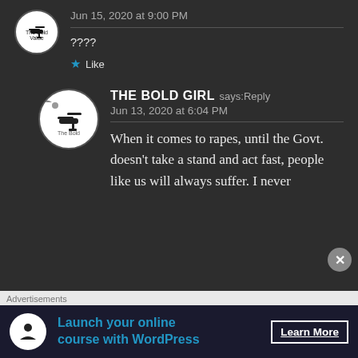Jun 15, 2020 at 9:00 PM
????
★ Like
THE BOLD GIRL says: Reply
Jun 13, 2020 at 6:04 PM
When it comes to rapes, until the Govt. doesn't take a stand and act fast, people like us will always suffer. I never
Advertisements
Launch your online course with WordPress   Learn More